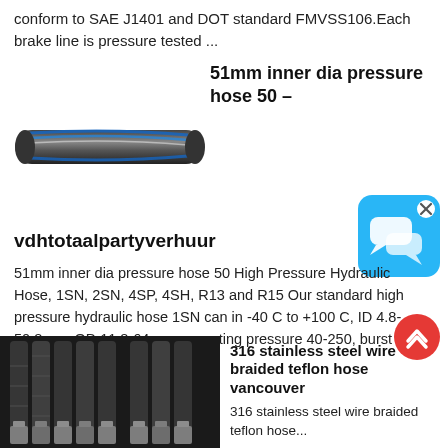conform to SAE J1401 and DOT standard FMVSS106.Each brake line is pressure tested ...
51mm inner dia pressure hose 50 –
[Figure (photo): Dark rubber pressure hose with blue and white spiral stripes]
[Figure (screenshot): Blue chat bubble app icon with close button]
vdhtotaalpartyverhuur
51mm inner dia pressure hose 50 High Pressure Hydraulic Hose, 1SN, 2SN, 4SP, 4SH, R13 and R15 Our standard high pressure hydraulic hose 1SN can in -40 C to +100 C, ID 4.8-50.8mm, OD 11.8-64mm, operating pressure 40-250, burst pressure 160-1000 bar.
[Figure (photo): Scroll up button – red circle with double up chevron]
[Figure (photo): Bundle of black braided stainless steel hoses with metal fittings]
316 stainless steel wire braided teflon hose vancouver
316 stainless steel wire braided teflon hose...